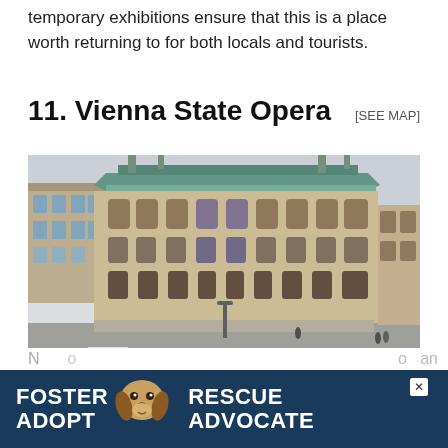temporary exhibitions ensure that this is a place worth returning to for both locals and tourists.
11. Vienna State Opera [SEE MAP]
[Figure (photo): Aerial street-level view of the Vienna State Opera building, a grand 19th-century neo-Renaissance structure with a green copper roof, cream-colored stone facade with arched windows and ornate details, surrounded by a busy intersection with cars, pedestrians, and crosswalks.]
[Figure (photo): Advertisement banner for a pet rescue/foster organization showing a beagle dog with text FOSTER, ADOPT, RESCUE, ADVOCATE on a dark navy background.]
No … an